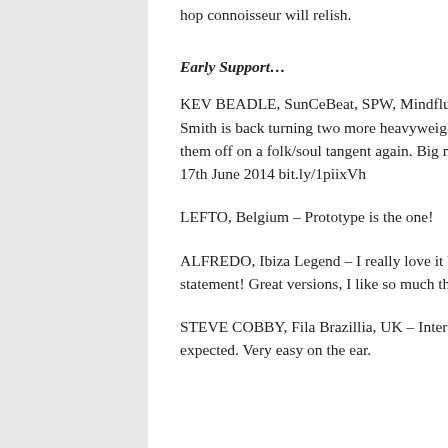hop connoisseur will relish.
Early Support…
KEV BEADLE, SunCeBeat, SPW, Mindfluid, UK – So good to see the very talented BJ Smith is back turning two more heavyweight hip hop tracks on their head and taking them off on a folk/soul tangent again. Big music for summer '14 Played on Mindfluid 17th June 2014 bit.ly/1piixVh
LEFTO, Belgium – Prototype is the one!
ALFREDO, Ibiza Legend – I really love it both of the tracks and this is a serious statement! Great versions, I like so much the Brazilian feeling on them…
STEVE COBBY, Fila Brazillia, UK – Interesting, I like the interpretations. Not what I expected. Very easy on the ear.